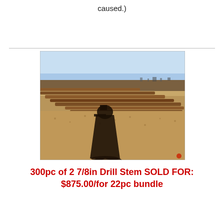caused.)
[Figure (photo): Outdoor photograph showing long metal drill stem pipes laid out on sandy/gravelly ground under a clear blue sky. A person's shadow is cast prominently in the foreground center of the image.]
300pc of 2 7/8in Drill Stem SOLD FOR: $875.00/for 22pc bundle